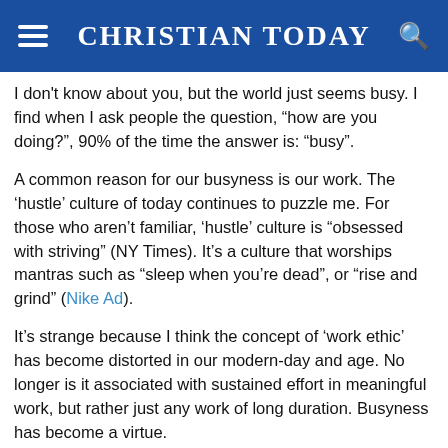CHRISTIAN TODAY
I don't know about you, but the world just seems busy. I find when I ask people the question, “how are you doing?”, 90% of the time the answer is: “busy”.
A common reason for our busyness is our work. The ‘hustle’ culture of today continues to puzzle me. For those who aren’t familiar, ‘hustle’ culture is “obsessed with striving” (NY Times). It’s a culture that worships mantras such as “sleep when you’re dead”, or “rise and grind” (Nike Ad).
It’s strange because I think the concept of ‘work ethic’ has become distorted in our modern-day and age. No longer is it associated with sustained effort in meaningful work, but rather just any work of long duration. Busyness has become a virtue.